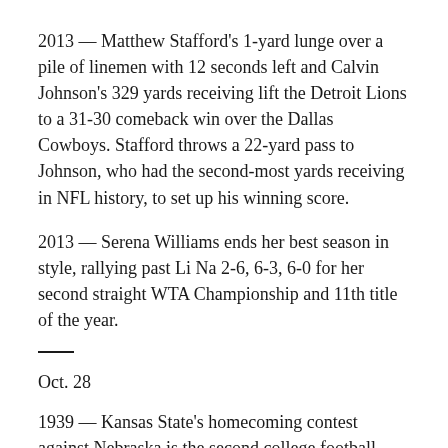2013 — Matthew Stafford's 1-yard lunge over a pile of linemen with 12 seconds left and Calvin Johnson's 329 yards receiving lift the Detroit Lions to a 31-30 comeback win over the Dallas Cowboys. Stafford throws a 22-yard pass to Johnson, who had the second-most yards receiving in NFL history, to set up his winning score.
2013 — Serena Williams ends her best season in style, rallying past Li Na 2-6, 6-3, 6-0 for her second straight WTA Championship and 11th title of the year.
Oct. 28
1939 — Kansas State's homecoming contest against Nebraska is the second college football game ever televised, following the Fordham-Waynesburg contest in New York earlier this fall. The Cornhuskers spoil